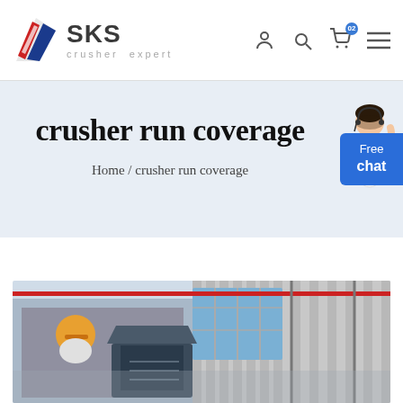[Figure (logo): SKS crusher expert logo with stylized red, blue, white flag/wing icon]
crusher run coverage
Home / crusher run coverage
[Figure (photo): Industrial factory interior with crusher machinery and a worker wearing a hard hat in the foreground]